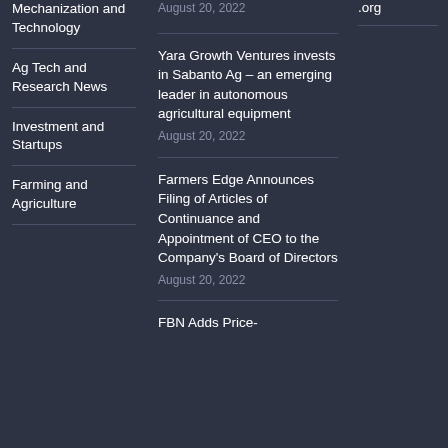Mechanization and Technology
Ag Tech and Research News
Investment and Startups
Farming and Agriculture
.org
Yara Growth Ventures invests in Sabanto Ag – an emerging leader in autonomous agricultural equipment
August 20, 2022
Farmers Edge Announces Filing of Articles of Continuance and Appointment of CEO to the Company's Board of Directors
August 20, 2022
FBN Adds Price-